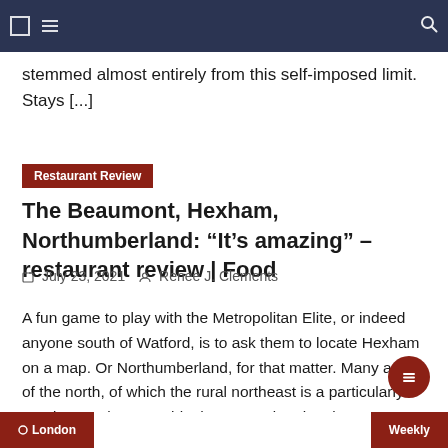Navigation bar with icons
stemmed almost entirely from this self-imposed limit. Stays [...]
Restaurant Review
The Beaumont, Hexham, Northumberland: “It’s amazing” – restaurant review | Food
July 23, 2021   Renee J. Clements
A fun game to play with the Metropolitan Elite, or indeed anyone south of Watford, is to ask them to locate Hexham on a map. Or Northumberland, for that matter. Many areas of the north, of which the rural northeast is a particularly good example, resemble the Bermuda Triangle to southerners: mysterious, vaguely defined, and [...]
London   Weekly